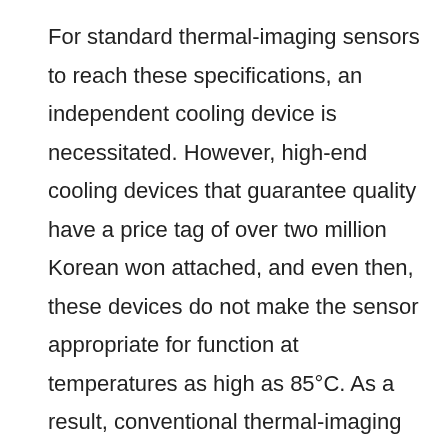For standard thermal-imaging sensors to reach these specifications, an independent cooling device is necessitated. However, high-end cooling devices that guarantee quality have a price tag of over two million Korean won attached, and even then, these devices do not make the sensor appropriate for function at temperatures as high as 85°C. As a result, conventional thermal-imaging sensors have not yet been utilised in these fields.
Now, the joint research team from KIST and SKKU have created a device that uses a vanadium dioxide and has proven to be stable at 100°C. The device identifies and converts the infrared light produced by heat into